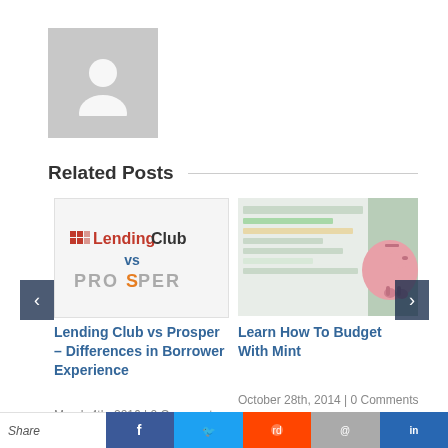[Figure (illustration): Grey avatar placeholder with white person silhouette icon]
Related Posts
[Figure (logo): Lending Club vs Prosper logo graphic]
[Figure (screenshot): Screenshot of a budgeting spreadsheet with a pink piggy bank]
Lending Club vs Prosper – Differences in Borrower Experience
March 4th, 2016  |  0 Comments
Learn How To Budget With Mint
October 28th, 2014  |  0 Comments
Share [Facebook] [Twitter] [Reddit] [Email] [LinkedIn]